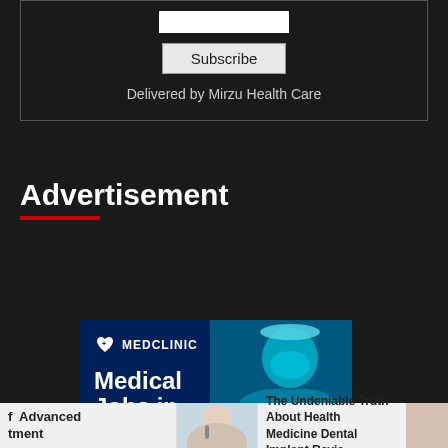[Figure (screenshot): Email subscription box with input field and Subscribe button on dark background, with 'Delivered by Mirzu Health Care' text]
Delivered by Mirzu Health Care
Advertisement
[Figure (photo): MEDCLINIC advertisement banner showing a doctor with stethoscope and text 'Medical Jobs in London' on dark blue background]
f Advanced tment
The Undeniable Truth About Health Medicine Dental Implant Revie...